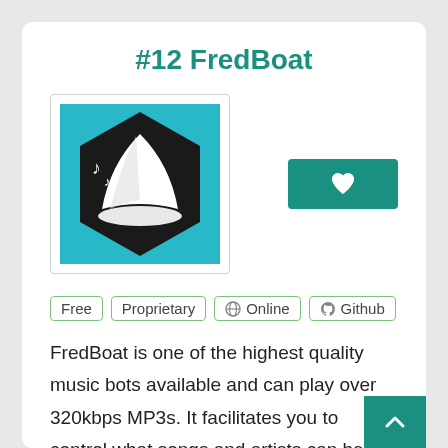#12 FredBoat
[Figure (logo): FredBoat logo: teal square background with black hexagon containing a white boat/sail and musical notes]
Free  Proprietary  Online  Github
FredBoat is one of the highest quality music bots available and can play over 320kbps MP3s. It facilitates you to control what songs and artists can be played on your server. Ban songs or entire artists and give your users the